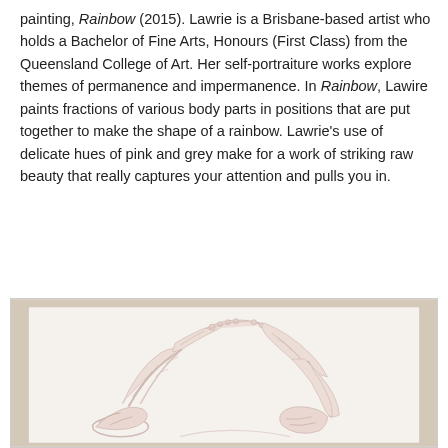painting, Rainbow (2015). Lawrie is a Brisbane-based artist who holds a Bachelor of Fine Arts, Honours (First Class) from the Queensland College of Art. Her self-portraiture works explore themes of permanence and impermanence. In Rainbow, Lawire paints fractions of various body parts in positions that are put together to make the shape of a rainbow. Lawrie's use of delicate hues of pink and grey make for a work of striking raw beauty that really captures your attention and pulls you in.
[Figure (illustration): Painting titled Rainbow (2015) showing fractions of various body parts arranged in a rainbow arc shape, painted in delicate hues of pink and grey on a white/cream background. The artwork is displayed on a light beige surface.]